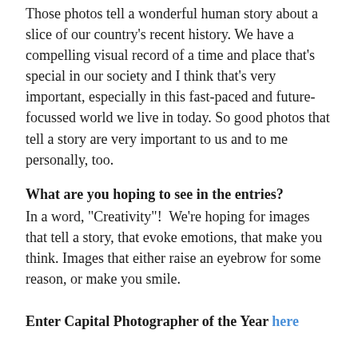Those photos tell a wonderful human story about a slice of our country’s recent history. We have a compelling visual record of a time and place that’s special in our society and I think that’s very important, especially in this fast-paced and future-focussed world we live in today. So good photos that tell a story are very important to us and to me personally, too.
What are you hoping to see in the entries?
In a word, “Creativity”!  We’re hoping for images that tell a story, that evoke emotions, that make you think. Images that either raise an eyebrow for some reason, or make you smile.
Enter Capital Photographer of the Year here